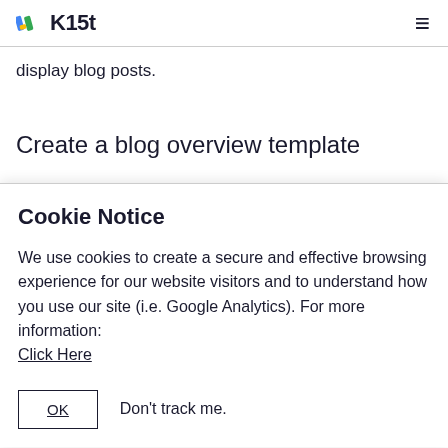K15t
display blog posts.
Create a blog overview template
Cookie Notice
We use cookies to create a secure and effective browsing experience for our website visitors and to understand how you use our site (i.e. Google Analytics). For more information:
Click Here
OK   Don't track me.